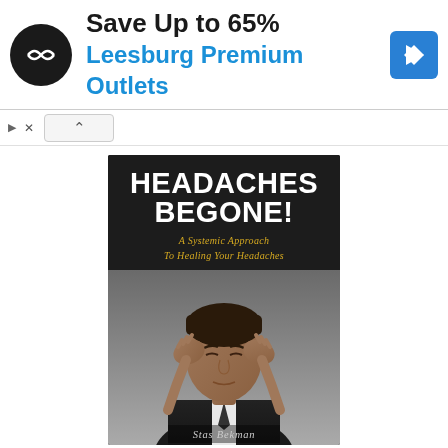[Figure (screenshot): Advertisement banner for Leesburg Premium Outlets with logo icon showing save up to 65% and a blue navigation arrow icon on the right]
Save Up to 65%
Leesburg Premium Outlets
[Figure (photo): Book cover of 'Headaches Begone! A Systemic Approach To Healing Your Headaches' by Stas Bekman. Dark background with white bold title text, gold subtitle text, and a photo of a man in a suit holding his head in pain with eyes closed.]